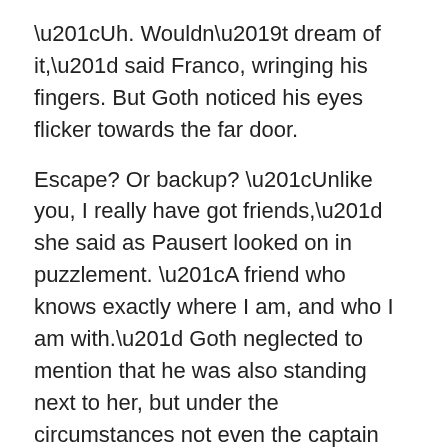“Uh. Wouldn’t dream of it,” said Franco, wringing his fingers. But Goth noticed his eyes flicker towards the far door.
Escape? Or backup? “Unlike you, I really have got friends,” she said as Pausert looked on in puzzlement. “A friend who knows exactly where I am, and who I am with.” Goth neglected to mention that he was also standing next to her, but under the circumstances not even the captain could have felt that was dishonest.
“Uh…” He suddenly must have realized that Goth must have at least heard Marshi deciding to kill him. “What can I do for you?”
Pausert provided him with a wobbly smile, trying to smooth over whatever the hidden undercurrent was. “We’ve brought in this coat